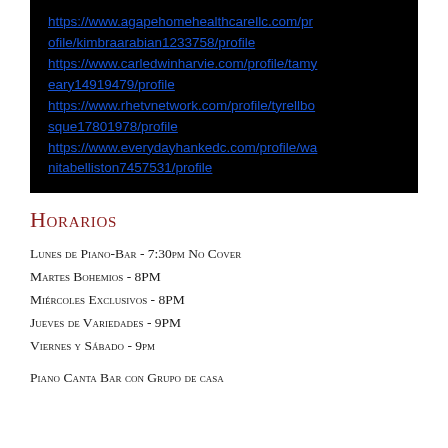https://www.agapehomehealthcarellc.com/profile/kimbraarabian1233758/profile
https://www.carledwinharvie.com/profile/tamyeary14919479/profile
https://www.rhetvnetwork.com/profile/tyrellbosque17801978/profile
https://www.everydayhankedc.com/profile/wanitabelliston7457531/profile
Horarios
Lunes de Piano-Bar - 7:30pm No Cover
Martes Bohemios - 8PM
Miércoles Exclusivos - 8PM
Jueves de Variedades - 9PM
Viernes y Sábado - 9pm
Piano Canta Bar con Grupo de casa